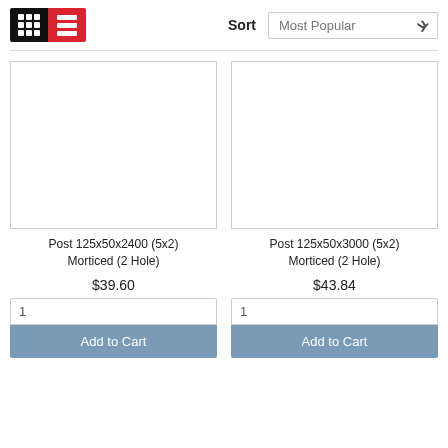[Figure (screenshot): View toggle buttons: grid view (black background) and list view (red background), and a Sort dropdown showing 'Most Popular']
[Figure (photo): Product image placeholder for Post 125x50x2400 (5x2) Morticed (2 Hole) - blank white rectangle with border]
Post 125x50x2400 (5x2) Morticed (2 Hole)
$39.60
[Figure (photo): Product image placeholder for Post 125x50x3000 (5x2) Morticed (2 Hole) - blank white rectangle with border]
Post 125x50x3000 (5x2) Morticed (2 Hole)
$43.84